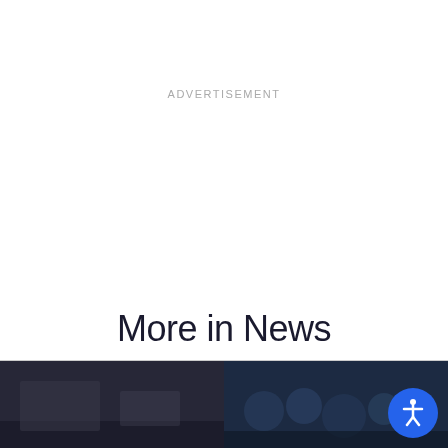ADVERTISEMENT
More in News
[Figure (photo): Left thumbnail image, dark toned news photo]
[Figure (photo): Right thumbnail image, crowd/people news photo with blue tones]